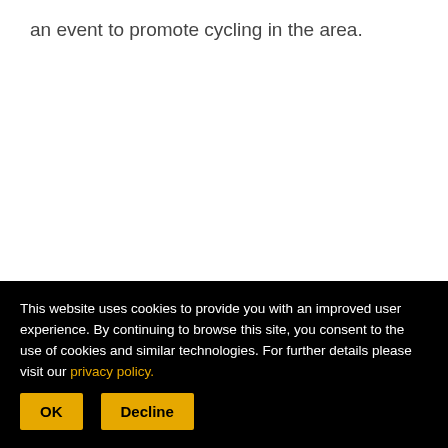an event to promote cycling in the area.
This website uses cookies to provide you with an improved user experience. By continuing to browse this site, you consent to the use of cookies and similar technologies. For further details please visit our privacy policy.
OK
Decline